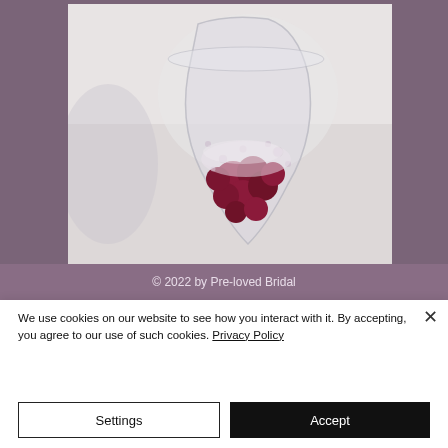[Figure (photo): Close-up photo of a champagne flute filled with sparkling wine and dark berries (raspberries/blackberries), set against a light background, displayed inside a purple-framed card layout.]
© 2022 by Pre-loved Bridal
We use cookies on our website to see how you interact with it. By accepting, you agree to our use of such cookies. Privacy Policy